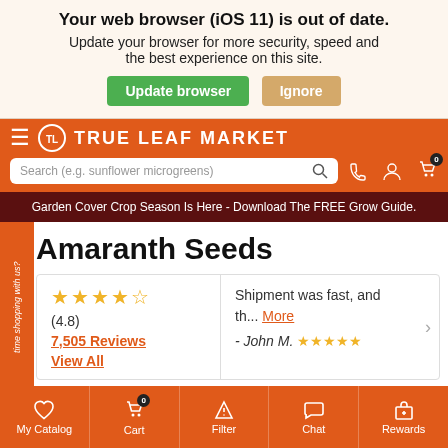Your web browser (iOS 11) is out of date. Update your browser for more security, speed and the best experience on this site.
[Figure (screenshot): True Leaf Market website header with search bar, navigation icons, and promo banner]
Garden Cover Crop Season Is Here - Download The FREE Grow Guide.
Amaranth Seeds
(4.8) 7,505 Reviews View All
Shipment was fast, and th... More - John M. ★★★★★